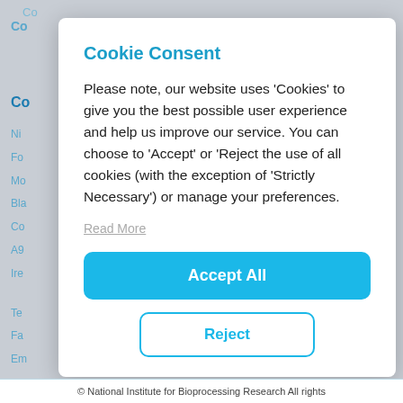Cookie Consent
Please note, our website uses 'Cookies' to give you the best possible user experience and help us improve our service. You can choose to 'Accept' or 'Reject the use of all cookies (with the exception of 'Strictly Necessary') or manage your preferences.
Read More
Accept All
Reject
© National Institute for Bioprocessing Research All rights